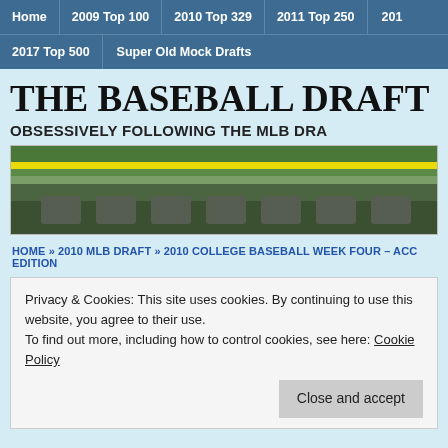Home | 2009 Top 100 | 2010 Top 329 | 2011 Top 250 | 201... | 2017 Top 500 | Super Old Mock Drafts
THE BASEBALL DRAFT REPO...
OBSESSIVELY FOLLOWING THE MLB DRA...
[Figure (photo): Banner photo showing a baseball field with yellow caution tape and dark green grass/tarp in background]
HOME » 2010 MLB DRAFT » 2010 COLLEGE BASEBALL WEEK FOUR – ACC EDITION
Privacy & Cookies: This site uses cookies. By continuing to use this website, you agree to their use.
To find out more, including how to control cookies, see here: Cookie Policy
Close and accept